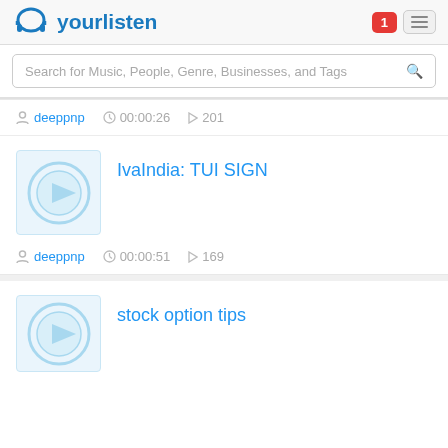yourlisten
Search for Music, People, Genre, Businesses, and Tags
deeppnp  00:00:26  201
IvaIndia: TUI SIGN
[Figure (illustration): Audio track thumbnail placeholder with a play button circle icon in light blue]
deeppnp  00:00:51  169
stock option tips
[Figure (illustration): Audio track thumbnail placeholder with a play button circle icon in light blue]